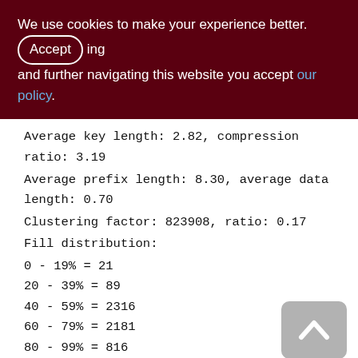We use cookies to make your experience better. By Accept and further navigating this website you accept our policy.
Average key length: 2.82, compression ratio: 3.19
Average prefix length: 8.30, average data length: 0.70
Clustering factor: 823908, ratio: 0.17
Fill distribution:
0 - 19% = 21
20 - 39% = 89
40 - 59% = 2316
60 - 79% = 2181
80 - 99% = 816